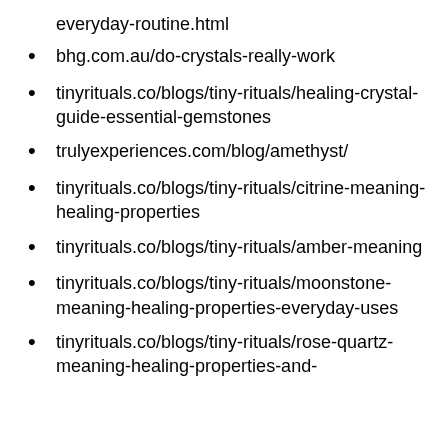everyday-routine.html
bhg.com.au/do-crystals-really-work
tinyrituals.co/blogs/tiny-rituals/healing-crystal-guide-essential-gemstones
trulyexperiences.com/blog/amethyst/
tinyrituals.co/blogs/tiny-rituals/citrine-meaning-healing-properties
tinyrituals.co/blogs/tiny-rituals/amber-meaning
tinyrituals.co/blogs/tiny-rituals/moonstone-meaning-healing-properties-everyday-uses
tinyrituals.co/blogs/tiny-rituals/rose-quartz-meaning-healing-properties-and-